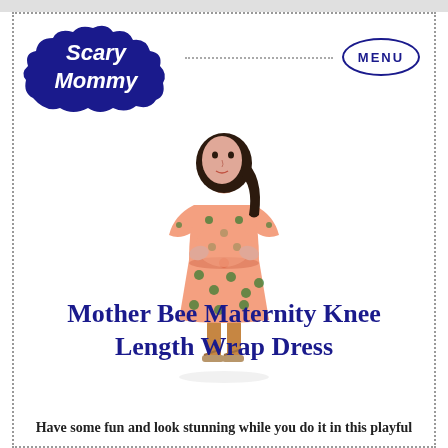[Figure (logo): Scary Mommy logo in navy blue bubble lettering]
[Figure (photo): Pregnant woman wearing a peach/salmon floral wrap dress (knee length) with sandal heels, hands resting on belly]
Mother Bee Maternity Knee Length Wrap Dress
Have some fun and look stunning while you do it in this playful